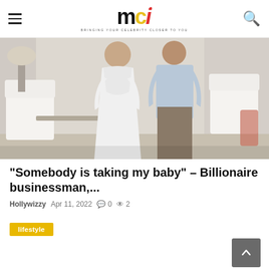mci - BRINGING YOUR CELEBRITY CLOSER TO YOU
[Figure (photo): A couple standing together indoors: a woman in a white long-sleeve dress and a man in a light blue shirt and khaki pants, in a bright white room with white chairs and curtains.]
"Somebody is taking my baby" - Billionaire businessman,...
Hollywizzy   Apr 11, 2022   0   2
lifestyle